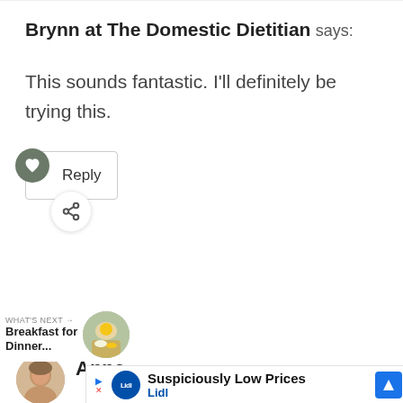Brynn at The Domestic Dietitian says:
This sounds fantastic. I'll definitely be trying this.
Reply
WHAT'S NEXT → Breakfast for Dinner...
Anne says:
Suspiciously Low Prices Lidl